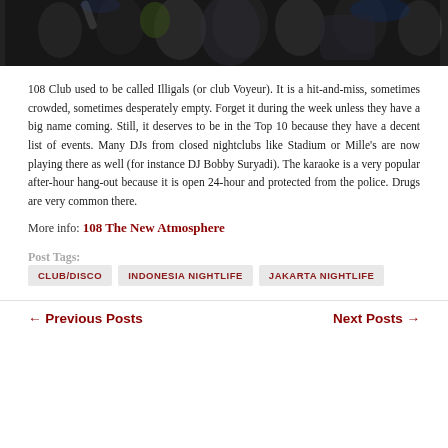[Figure (photo): Dark nightclub crowd photo with people dancing and raising hands, taken from behind]
108 Club used to be called Illigals (or club Voyeur). It is a hit-and-miss, sometimes crowded, sometimes desperately empty. Forget it during the week unless they have a big name coming. Still, it deserves to be in the Top 10 because they have a decent list of events. Many DJs from closed nightclubs like Stadium or Mille's are now playing there as well (for instance DJ Bobby Suryadi). The karaoke is a very popular after-hour hang-out because it is open 24-hour and protected from the police. Drugs are very common there.
More info: 108 The New Atmosphere
Post Tags: CLUB/DISCO  INDONESIA NIGHTLIFE  JAKARTA NIGHTLIFE
← Previous Posts    Next Posts →